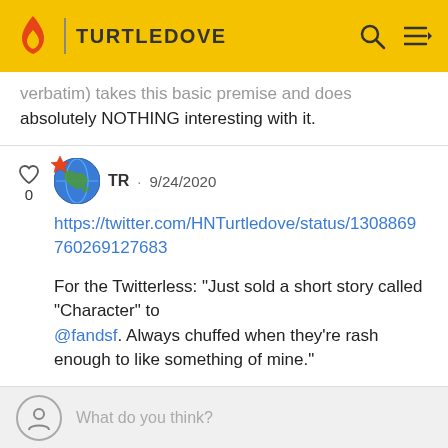TURTLEDOVE
verbatim) takes this basic premise and does absolutely NOTHING interesting with it.
TR · 9/24/2020
https://twitter.com/HNTurtledove/status/13088697 60269127683
For the Twitterless: "Just sold a short story called "Character" to @fandsf. Always chuffed when they're rash enough to like something of mine."
What do you think?